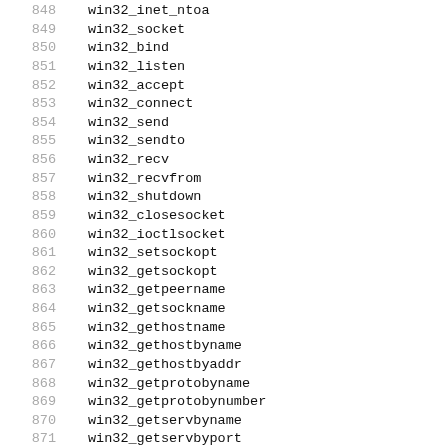848  win32_inet_ntoa
849  win32_socket
850  win32_bind
851  win32_listen
852  win32_accept
853  win32_connect
854  win32_send
855  win32_sendto
856  win32_recv
857  win32_recvfrom
858  win32_shutdown
859  win32_closesocket
860  win32_ioctlsocket
861  win32_setsockopt
862  win32_getsockopt
863  win32_getpeername
864  win32_getsockname
865  win32_gethostname
866  win32_gethostbyname
867  win32_gethostbyaddr
868  win32_getprotobyname
869  win32_getprotobynumber
870  win32_getservbyname
871  win32_getservbyport
872  win32_select
873  win32_endhostent
874  win32_endnetent
875  win32_endprotoent
876  win32_endservent
877  win32_getnetent
878  win32_getnetbyname
879  win32_getnetbyaddr
880  win32_getprotoent